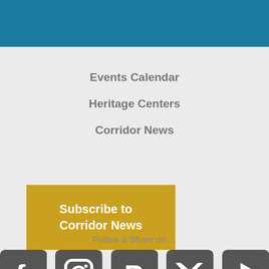[Figure (other): Teal/blue horizontal navigation bar at top of page]
Events Calendar
Heritage Centers
Corridor News
[Figure (other): Golden/mustard yellow button labeled 'Subscribe to Corridor News']
Follow & Share on ...
[Figure (other): Social media icons: Facebook, Instagram, Pinterest, Twitter, YouTube]